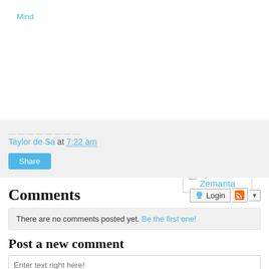Mind
[Figure (other): Enhanced by Zemanta button/badge with broken image icon]
Taylor de Sa at 7:22 am
Share
Comments
There are no comments posted yet. Be the first one!
Post a new comment
Enter text right here!